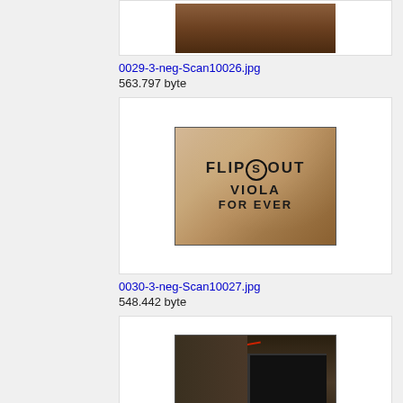[Figure (photo): Partial top of image card showing a photo (cropped, mostly background visible)]
0029-3-neg-Scan10026.jpg
563.797 byte
[Figure (photo): Photo of graffiti on a wall reading FLIP(S)OUT VIOLA FOR EVER]
0030-3-neg-Scan10027.jpg
548.442 byte
[Figure (photo): Photo of a dark doorway/entrance with graffiti and red markings on wall]